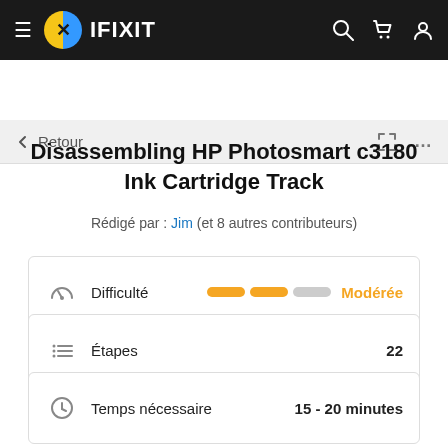≡ IFIXIT
← Retour
Disassembling HP Photosmart c3180 Ink Cartridge Track
Rédigé par : Jim (et 8 autres contributeurs)
Difficulté — Modérée
Étapes — 22
Temps nécessaire — 15 - 20 minutes